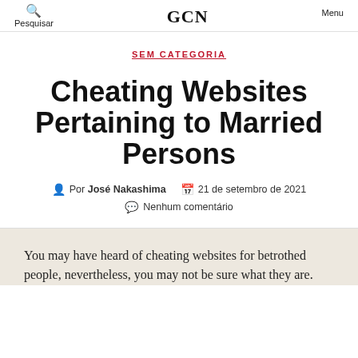Pesquisar | GCN | Menu
SEM CATEGORIA
Cheating Websites Pertaining to Married Persons
Por José Nakashima   21 de setembro de 2021
Nenhum comentário
You may have heard of cheating websites for betrothed people, nevertheless, you may not be sure what they are.